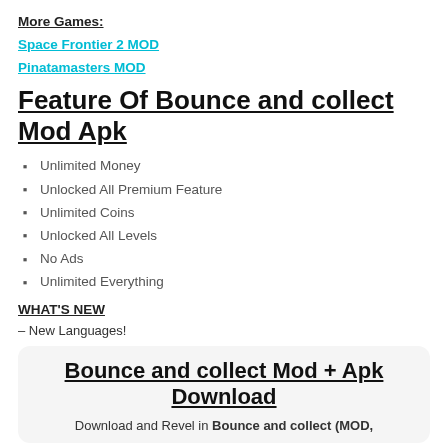More Games:
Space Frontier 2 MOD
Pinatamasters MOD
Feature Of Bounce and collect Mod Apk
Unlimited Money
Unlocked All Premium Feature
Unlimited Coins
Unlocked All Levels
No Ads
Unlimited Everything
WHAT'S NEW
– New Languages!
Bounce and collect Mod + Apk Download
Download and Revel in Bounce and collect (MOD,